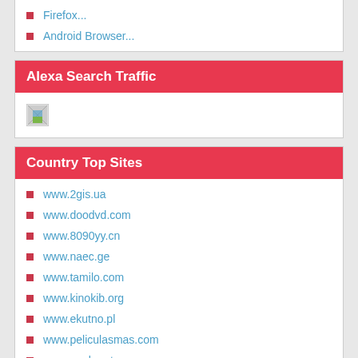Firefox...
Android Browser...
Alexa Search Traffic
[Figure (other): Broken/loading image placeholder for Alexa Search Traffic chart]
Country Top Sites
www.2gis.ua
www.doodvd.com
www.8090yy.cn
www.naec.ge
www.tamilo.com
www.kinokib.org
www.ekutno.pl
www.peliculasmas.com
www.noobmeter.com
www.prosport.ro
www.autoscout24.it